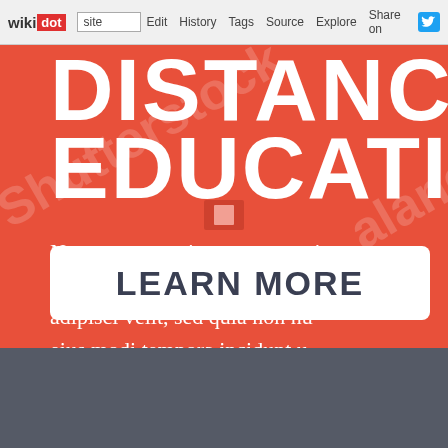wikidot | site | Edit | History | Tags | Source | Explore | Share on Twitter
DISTANCE EDUCATION
Neque porro quisquam est, qui ipsum quia dolor sit amet, co adipisci velit, sed quia non nu eius modi tempora incidunt u
LEARN MORE
[Figure (other): Small flag/icon watermark overlay on banner]